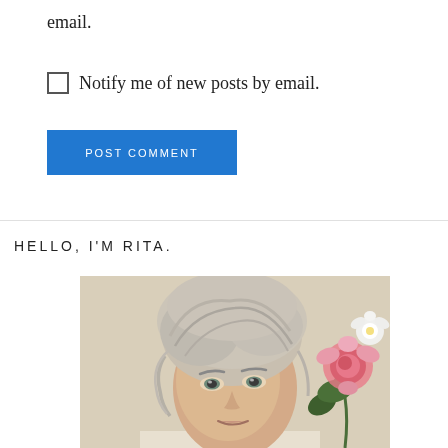email.
Notify me of new posts by email.
POST COMMENT
HELLO, I'M RITA.
[Figure (photo): Portrait photo of a woman named Rita with short blonde/silver hair, facing camera, with pink flowers visible to the right side. Neutral beige background.]